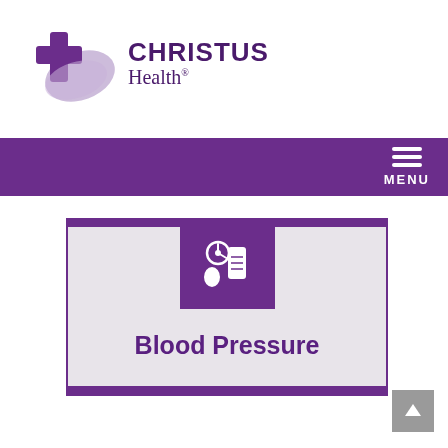[Figure (logo): CHRISTUS Health logo with purple cross and swoosh graphic on the left, and 'CHRISTUS Health' text on the right in dark purple.]
[Figure (screenshot): Purple navigation bar with hamburger menu icon and MENU label on the right side.]
[Figure (infographic): Card with purple border and background accent. Purple icon box showing a blood pressure cuff/sphygmomanometer icon at top center. Text 'Blood Pressure' in large purple font below.]
Blood Pressure